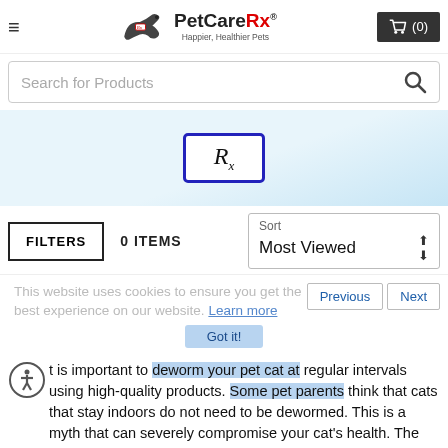[Figure (logo): PetCareRx logo with running dog silhouette and tagline 'Happier, Healthier Pets']
[Figure (screenshot): Search bar with placeholder text 'Search for Products' and magnifying glass icon]
[Figure (other): Light blue banner with Rx prescription badge in blue border]
FILTERS   0 ITEMS
Sort Most Viewed
This website uses cookies to ensure you get the best experience on our website. Learn more
It is important to deworm your pet cat at regular intervals using high-quality products. Some pet parents think that cats that stay indoors do not need to be dewormed. This is a myth that can severely compromise your cat's health. The truth is most cats